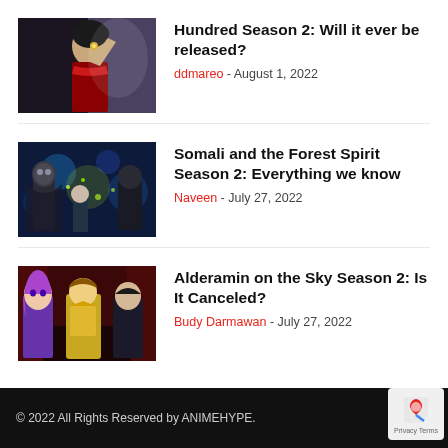[Figure (illustration): Anime character thumbnail for Hundred Season 2 article]
Hundred Season 2: Will it ever be released?
ddmareo - August 1, 2022
[Figure (illustration): Anime characters thumbnail for Somali and the Forest Spirit Season 2 article]
Somali and the Forest Spirit Season 2: Everything we know
Naveen - July 27, 2022
[Figure (illustration): Anime characters thumbnail for Alderamin on the Sky Season 2 article]
Alderamin on the Sky Season 2: Is It Canceled?
Budy Darmawan - July 27, 2022
© 2022 All Rights Reserved by ANIMEHYPE.